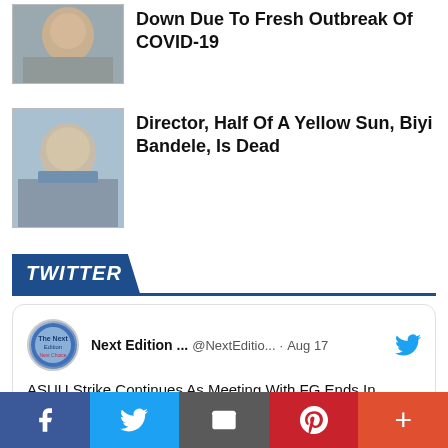[Figure (photo): Thumbnail photo of a person (partially visible at top)]
Down Due To Fresh Outbreak Of COVID-19
[Figure (photo): Photo of Biyi Bandele, a man with grey beard and glasses wearing blue overalls]
Director, Half Of A Yellow Sun, Biyi Bandele, Is Dead
TWITTER
[Figure (screenshot): Tweet from Next Edition... @NextEditio... Aug 17: ASUU Strike Continues As Meeting With FG Ends In Deadlock nextedition.com.ng/asuu-strike-co...]
f  Twitter  Email  Pinterest  +